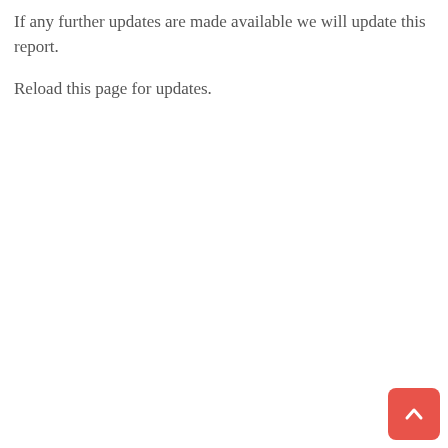If any further updates are made available we will update this report.
Reload this page for updates.